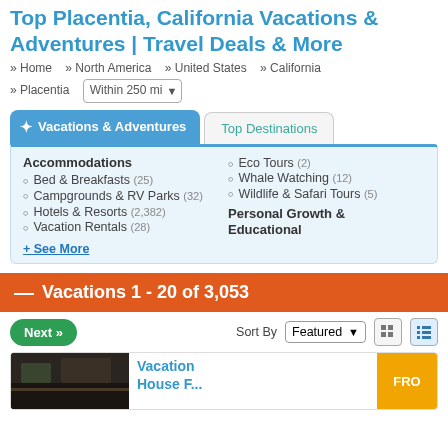Top Placentia, California Vacations & Adventures | Travel Deals & More
» Home  » North America  » United States  » California  » Placentia   Within 250 mi
Vacations & Adventures  |  Top Destinations
Accommodations
Bed & Breakfasts (25)
Campgrounds & RV Parks (32)
Hotels & Resorts (2,382)
Vacation Rentals (28)
Eco Tours (2)
Whale Watching (12)
Wildlife & Safari Tours (5)
Personal Growth & Educational
+ See More
— Vacations 1 - 20 of 3,053
Next »  Sort By  Featured
Vacation House F...  FRO